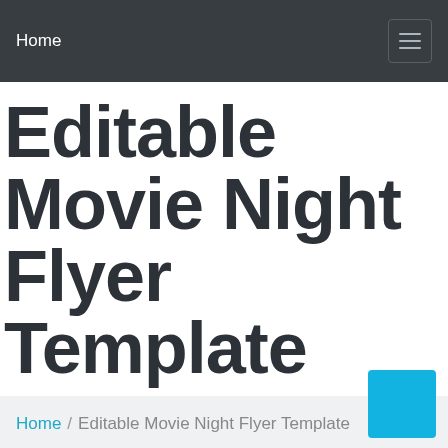Home
Editable Movie Night Flyer Template
Home / Editable Movie Night Flyer Template